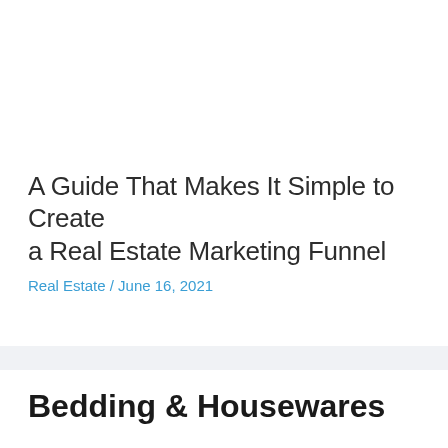A Guide That Makes It Simple to Create a Real Estate Marketing Funnel
Real Estate / June 16, 2021
Bedding & Housewares